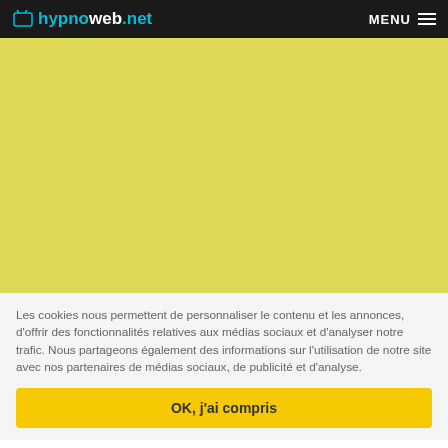hypnoweb.net — MENU
[Figure (other): Yellow/lime colored banner/advertisement placeholder area]
Les cookies nous permettent de personnaliser le contenu et les annonces, d'offrir des fonctionnalités relatives aux médias sociaux et d'analyser notre trafic. Nous partageons également des informations sur l'utilisation de notre site avec nos partenaires de médias sociaux, de publicité et d'analyse.
OK, j'ai compris